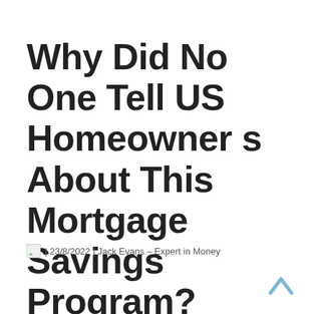Why Did No One Tell US Homeowners About This Mortgage Savings Program?
| 23/8/2022 | Jack Evans – Expert in Money